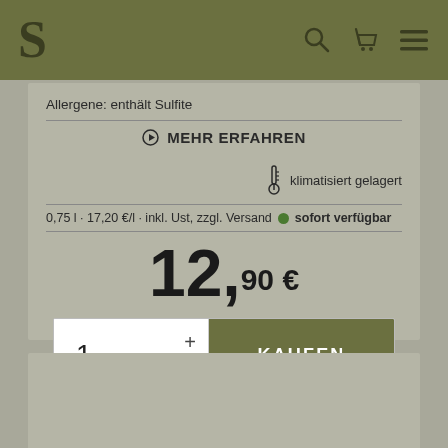S [logo] [search icon] [cart icon] [menu icon]
Allergene: enthält Sulfite
● MEHR ERFAHREN
klimatisiert gelagert
0,75 l · 17,20 €/l · inkl. Ust, zzgl. Versand ● sofort verfügbar
12,90 €
1 + − KAUFEN